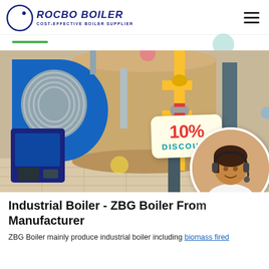[Figure (logo): Rocbo Boiler logo with crescent icon and text 'ROCBO BOILER - COST-EFFECTIVE BOILER SUPPLIER']
[Figure (photo): Industrial boiler equipment in a factory setting with yellow gas pipes and valves, featuring a '10% DISCOUNT' badge and a customer service representative in a circular inset photo]
Industrial Boiler - ZBG Boiler From Manufacturer
ZBG Boiler mainly produce industrial boiler including biomass fired